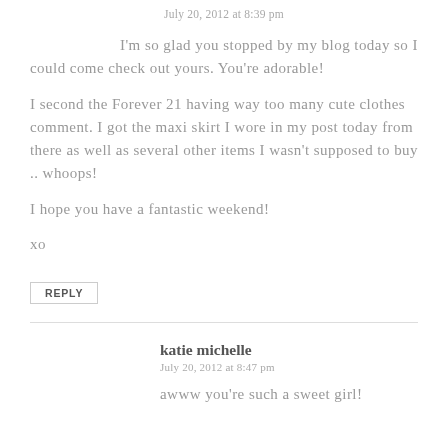July 20, 2012 at 8:39 pm
I'm so glad you stopped by my blog today so I could come check out yours. You're adorable!

I second the Forever 21 having way too many cute clothes comment. I got the maxi skirt I wore in my post today from there as well as several other items I wasn't supposed to buy .. whoops!

I hope you have a fantastic weekend!

xo
REPLY
katie michelle
July 20, 2012 at 8:47 pm
awww you're such a sweet girl!